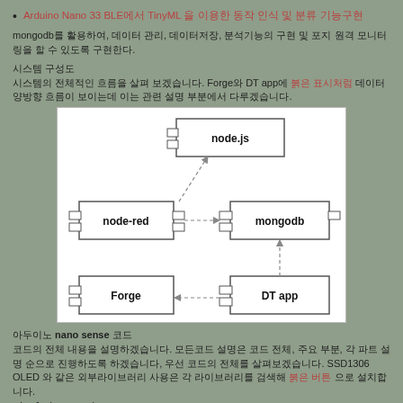Arduino Nano 33 BLE에서 TinyML 을 이용한 동작 인식 및 분류 기능구현
mongodb를 활용하여, 데이터 관리, 데이터저장, 분석기능의 구현 및 포지 원격 모니터링을 할 수 있도록 구현한다.
시스템 구성도
시스템의 전체적인 흐름을 살펴 보겠습니다. Forge와 DT app에 붉은 표시처럼 데이터 양방향 흐름이 보이는데 이는 관련 설명 부분에서 다루겠습니다.
[Figure (engineering-diagram): UML component/deployment diagram showing node.js at top, node-red and mongodb in middle, Forge and DT app at bottom, with dashed arrows showing data flow between components]
아두이노 nano sense 코드
코드의 전체 내용을 설명하겠습니다. 모든코드 설명은 코드 전체, 주요 부분, 각 파트 설명 순으로 진행하도록 하겠습니다, 우선 코드의 전체를 살펴보겠습니다. SSD1306 OLED 와 같은 외부라이브러리 사용은 각 라이브러리를 검색해 붉은 버튼 으로 설치합니다.
#include <SPI.h>
#include <Wire.h>